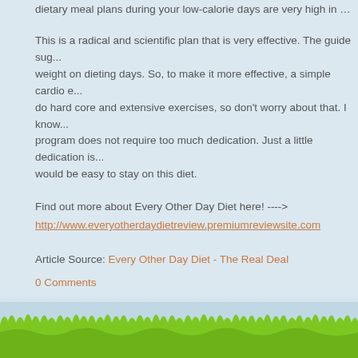dietary meal plans during your low-calorie days are very high in protein...
This is a radical and scientific plan that is very effective. The guide suggests losing weight on dieting days. So, to make it more effective, a simple cardio exercise... do hard core and extensive exercises, so don't worry about that. I know... program does not require too much dedication. Just a little dedication is... would be easy to stay on this diet.
Find out more about Every Other Day Diet here! ---->
http://www.everyotherdaydietreview.premiumreviewsite.com
Article Source: Every Other Day Diet - The Real Deal
0 Comments
[Figure (illustration): Green grass strip at the bottom of the page against a light blue sky background]